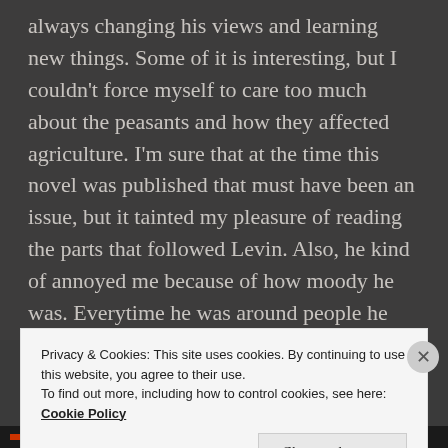always changing his views and learning new things. Some of it is interesting, but I couldn't force myself to care too much about the peasants and how they affected agriculture. I'm sure that at the time this novel was published that must have been an issue, but it tainted my pleasure of reading the parts that followed Levin. Also, he kind of annoyed me because of how moody he was. Everytime he was around people he was angry and frustrated. However, his love for Kitty was really sweet and I liked how he (mostly) was happy with her.
Privacy & Cookies: This site uses cookies. By continuing to use this website, you agree to their use.
To find out more, including how to control cookies, see here: Cookie Policy
Close and accept